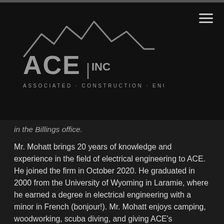[Figure (logo): ACE INC - Associated Construction Engineering logo with mountain silhouette graphic in gray on dark background]
in the Billings office.
Mr. Mohatt brings 20 years of knowledge and experience in the field of electrical engineering to ACE. He joined the firm in October 2020. He graduated in 2000 from the University of Wyoming in Laramie, where he earned a degree in electrical engineering with a minor in French (bonjour!). Mr. Mohatt enjoys camping, woodworking, scuba diving, and giving ACE's administrative assistants a hard time.
A 2018 graduate of the South Dakota State University in Brookings, Mr. Hogan majored in mechanical engineering and began working for ACE in July 2021. His hobbies include biking, camping, and fishing. He can also be